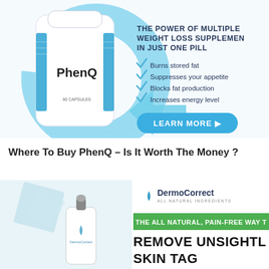[Figure (photo): PhenQ weight loss supplement advertisement banner showing a white pill bottle labeled PhenQ on the left with a large light-blue arrow/Q shape behind it, and on the right text reading 'THE POWER OF MULTIPLE WEIGHT LOSS SUPPLEMENTS IN JUST ONE PILL' with checkmarks listing 'Burns stored fat', 'Suppresses your appetite', 'Blocks fat production', 'Increases energy level' and a blue 'LEARN MORE' button with arrow]
Where To Buy PhenQ – Is It Worth The Money ?
[Figure (photo): DermoCorrect skin tag removal product advertisement showing a dropper bottle on the left, DermoCorrect logo with droplet icon on the upper right, a green banner reading 'THE ALL NATURAL, PAIN-FREE WAY TO' and large black bold text 'REMOVE UNSIGHTLY SKIN TAGS' partially visible]